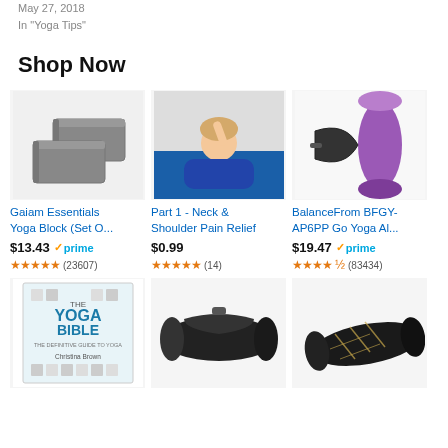May 27, 2018
In "Yoga Tips"
Shop Now
[Figure (photo): Two grey foam yoga blocks stacked]
Gaiam Essentials Yoga Block (Set O...
$13.43 ✓prime (23607)
[Figure (photo): Woman lying on blue yoga mat with hands behind neck]
Part 1 - Neck & Shoulder Pain Relief
$0.99 (14)
[Figure (photo): Purple rolled yoga mat with black carrying strap]
BalanceFrom BFGY-AP6PP Go Yoga Al...
$19.47 ✓prime (83434)
[Figure (photo): The Yoga Bible book cover by Christina Brown]
[Figure (photo): Black rolled yoga mat with carrying strap]
[Figure (photo): Black yoga mat with gold geometric pattern]